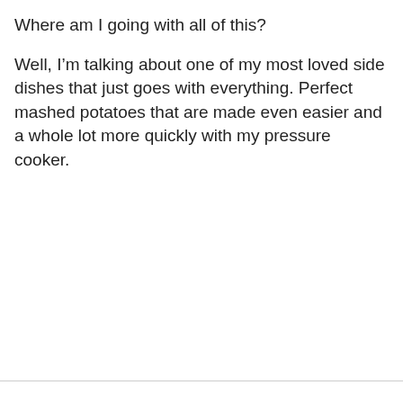Where am I going with all of this?
Well, I’m talking about one of my most loved side dishes that just goes with everything. Perfect mashed potatoes that are made even easier and a whole lot more quickly with my pressure cooker.